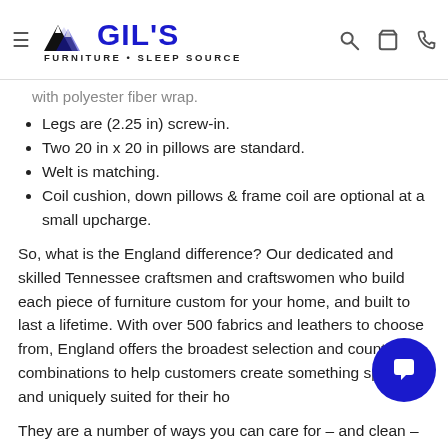Gil's Furniture • Sleep Source — navigation header with logo
with polyester fiber wrap.
Legs are (2.25 in) screw-in.
Two 20 in x 20 in pillows are standard.
Welt is matching.
Coil cushion, down pillows & frame coil are optional at a small upcharge.
So, what is the England difference? Our dedicated and skilled Tennessee craftsmen and craftswomen who build each piece of furniture custom for your home, and built to last a lifetime. With over 500 fabrics and leathers to choose from, England offers the broadest selection and countless combinations to help customers create something special and uniquely suited for their ho…
They are a number of ways you can care for – and clean –